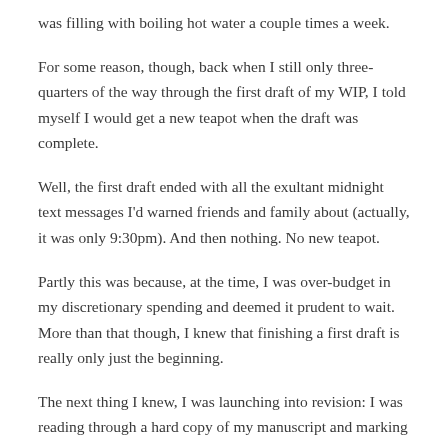was filling with boiling hot water a couple times a week.
For some reason, though, back when I still only three-quarters of the way through the first draft of my WIP, I told myself I would get a new teapot when the draft was complete.
Well, the first draft ended with all the exultant midnight text messages I'd warned friends and family about (actually, it was only 9:30pm).  And then nothing.  No new teapot.
Partly this was because, at the time, I was over-budget in my discretionary spending and deemed it prudent to wait.  More than that though, I knew that finishing a first draft is really only just the beginning.
The next thing I knew, I was launching into revision: I was reading through a hard copy of my manuscript and marking it up like a term